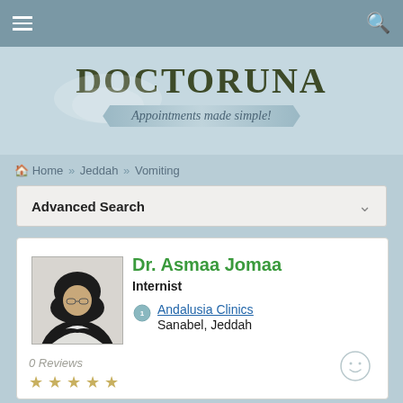[Figure (screenshot): Navigation bar with hamburger menu and search icon on blue-grey background]
DOCTORUNA
Appointments made simple!
Home » Jeddah » Vomiting
Advanced Search
Dr. Asmaa Jomaa
Internist
Andalusia Clinics
Sanabel, Jeddah
0 Reviews
[Figure (photo): Photo of Dr. Asmaa Jomaa, a woman wearing a black hijab with arms crossed]